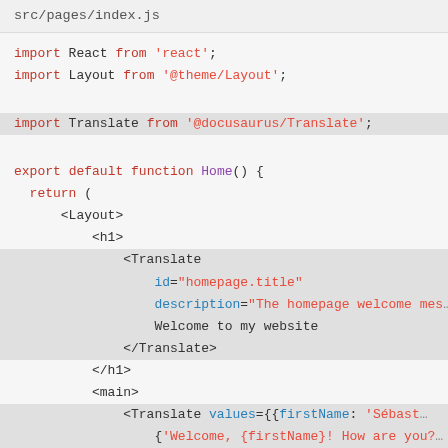src/pages/index.js
import React from 'react';
import Layout from '@theme/Layout';
import Translate from '@docusaurus/Translate';
export default function Home() {
  return (
    <Layout>
      <h1>
        <Translate
          id="homepage.title"
          description="The homepage welcome mes...
          Welcome to my website
        </Translate>
      </h1>
      <main>
        <Translate values={{firstName: 'Sébast...
          {'Welcome, {firstName}! How are you?...
        </Translate>
      </main>